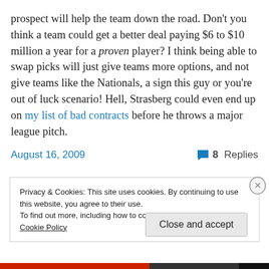prospect will help the team down the road. Don't you think a team could get a better deal paying $6 to $10 million a year for a proven player? I think being able to swap picks will just give teams more options, and not give teams like the Nationals, a sign this guy or you're out of luck scenario! Hell, Strasberg could even end up on my list of bad contracts before he throws a major league pitch.
August 16, 2009    8 Replies
Privacy & Cookies: This site uses cookies. By continuing to use this website, you agree to their use. To find out more, including how to control cookies, see here: Cookie Policy
Close and accept